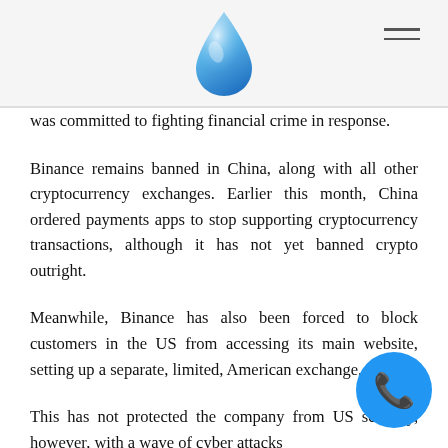was committed to fighting financial crime in response.
Binance remains banned in China, along with all other cryptocurrency exchanges. Earlier this month, China ordered payments apps to stop supporting cryptocurrency transactions, although it has not yet banned crypto outright.
Meanwhile, Binance has also been forced to block customers in the US from accessing its main website, setting up a separate, limited, American exchange.
This has not protected the company from US scrutiny, however, with a wave of cyber attacks